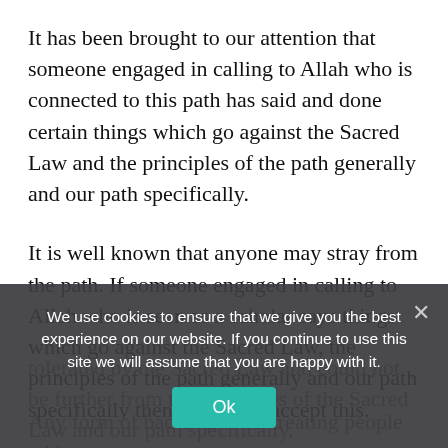It has been brought to our attention that someone engaged in calling to Allah who is connected to this path has said and done certain things which go against the Sacred Law and the principles of the path generally and our path specifically.
It is well known that anyone may stray from the path. If someone engaged in calling to Allah who is seen as a scholar says things which go against the Sacred Law, the principles of the path generally and our path specifically then we do not accept this.
Any lack of respect towards the Prophet ﷺ is not tolerated by the Sacred Law and could not be further from the principles of the Sacred Law and our path specifically.
Any form of bad character, treating people with
We use cookies to ensure that we give you the best experience on our website. If you continue to use this site we will assume that you are happy with it.